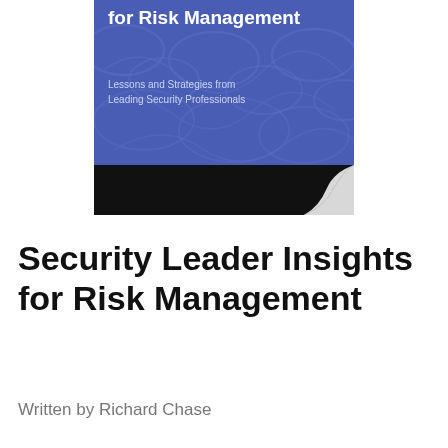[Figure (illustration): Book cover of 'Security Leader Insights for Risk Management: Lessons and Strategies from Leading Security Professionals' by Richard E. Chase, Contributing Editor. Blue cover with decorative leaf/floral pattern background, black bottom band with page curl effect, author name in bottom section.]
Security Leader Insights for Risk Management
Written by Richard Chase